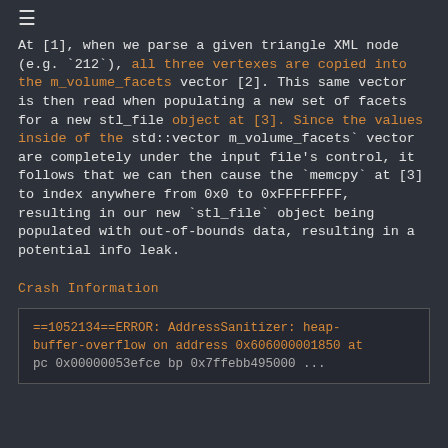≡
At [1], when we parse a given triangle XML node (e.g. `212`), all three vertexes are copied into the m_volume_facets vector [2]. This same vector is then read when populating a new set of facets for a new stl_file object at [3]. Since the values inside of the std::vector m_volume_facets` vector are completely under the input file's control, it follows that we can then cause the `memcpy` at [3] to index anywhere from 0x0 to 0xFFFFFFFF, resulting in our new `stl_file` object being populated with out-of-bounds data, resulting in a potential info leak.
Crash Information
==1052134==ERROR: AddressSanitizer: heap-buffer-overflow on address 0x606000001850 at
pc 0x00000053efce bp 0x7ffebb495000 ...